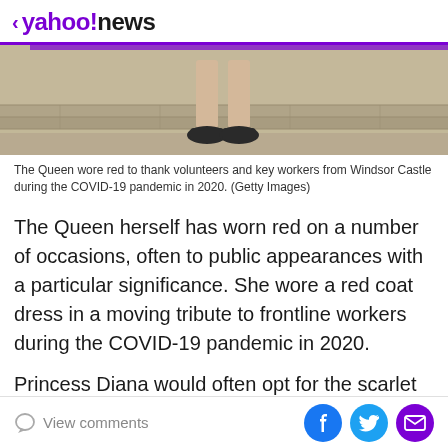< yahoo!news
[Figure (photo): Cropped photo showing the lower legs and black shoes of a person (the Queen) standing on stone steps/pavement outside Windsor Castle.]
The Queen wore red to thank volunteers and key workers from Windsor Castle during the COVID-19 pandemic in 2020. (Getty Images)
The Queen herself has worn red on a number of occasions, often to public appearances with a particular significance. She wore a red coat dress in a moving tribute to frontline workers during the COVID-19 pandemic in 2020.
Princess Diana would often opt for the scarlet hue for public appearances, and many of her most iconic outfits
View comments